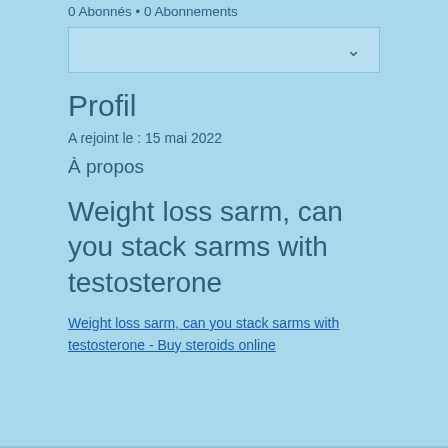0 Abonnés • 0 Abonnements
[Figure (screenshot): Dropdown/collapsible UI element with chevron arrow pointing down]
Profil
A rejoint le : 15 mai 2022
À propos
Weight loss sarm, can you stack sarms with testosterone
Weight loss sarm, can you stack sarms with testosterone - Buy steroids online